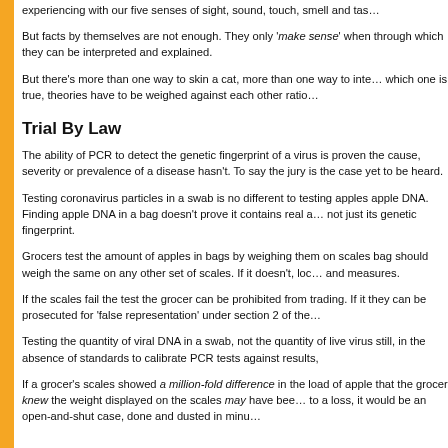experiencing with our five senses of sight, sound, touch, smell and tas…
But facts by themselves are not enough. They only 'make sense' when through which they can be interpreted and explained.
But there's more than one way to skin a cat, more than one way to inte… which one is true, theories have to be weighed against each other ratio…
Trial By Law
The ability of PCR to detect the genetic fingerprint of a virus is proven the cause, severity or prevalence of a disease hasn't. To say the jury is the case yet to be heard.
Testing coronavirus particles in a swab is no different to testing apples apple DNA. Finding apple DNA in a bag doesn't prove it contains real a… not just its genetic fingerprint.
Grocers test the amount of apples in bags by weighing them on scales bag should weigh the same on any other set of scales. If it doesn't, loc… and measures.
If the scales fail the test the grocer can be prohibited from trading. If it they can be prosecuted for 'false representation' under section 2 of the…
Testing the quantity of viral DNA in a swab, not the quantity of live virus still, in the absence of standards to calibrate PCR tests against results,
If a grocer's scales showed a million-fold difference in the load of apple that the grocer knew the weight displayed on the scales may have bee… to a loss, it would be an open-and-shut case, done and dusted in minu…